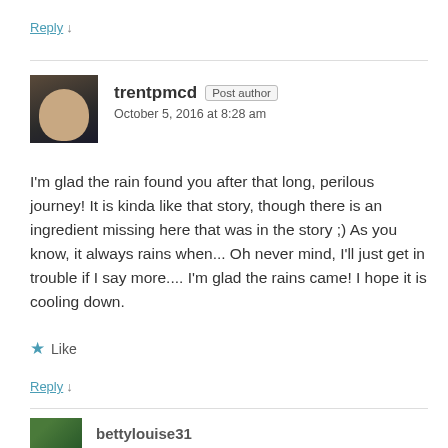Reply ↓
trentpmcd  Post author
October 5, 2016 at 8:28 am
I'm glad the rain found you after that long, perilous journey! It is kinda like that story, though there is an ingredient missing here that was in the story ;) As you know, it always rains when... Oh never mind, I'll just get in trouble if I say more.... I'm glad the rains came! I hope it is cooling down.
★ Like
Reply ↓
bettylouise31